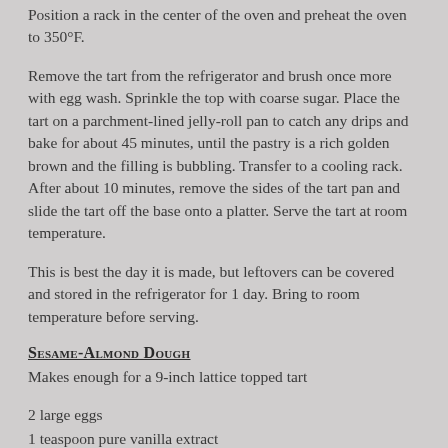Position a rack in the center of the oven and preheat the oven to 350°F.
Remove the tart from the refrigerator and brush once more with egg wash. Sprinkle the top with coarse sugar. Place the tart on a parchment-lined jelly-roll pan to catch any drips and bake for about 45 minutes, until the pastry is a rich golden brown and the filling is bubbling. Transfer to a cooling rack. After about 10 minutes, remove the sides of the tart pan and slide the tart off the base onto a platter. Serve the tart at room temperature.
This is best the day it is made, but leftovers can be covered and stored in the refrigerator for 1 day. Bring to room temperature before serving.
Sesame-Almond Dough
Makes enough for a 9-inch lattice topped tart
2 large eggs
1 teaspoon pure vanilla extract
¾ cup unblanched almonds, lightly toasted and cooled